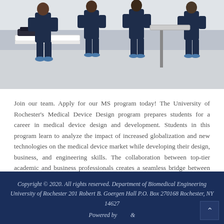[Figure (photo): Overhead/angled view of medical professionals in dark blue scrubs and blue shoe covers in a medical/laboratory setting with a white examination table]
Join our team. Apply for our MS program today! The University of Rochester's Medical Device Design program prepares students for a career in medical device design and development. Students in this program learn to analyze the impact of increased globalization and new technologies on the medical device market while developing their design, business, and engineering skills. The collaboration between top-tier academic and business professionals creates a seamless bridge between classroom learning and professional practice.
Copyright © 2020. All rights reserved. Department of Biomedical Engineering University of Rochester 201 Robert B. Goergen Hall P.O. Box 270168 Rochester, NY 14627
Powered by &